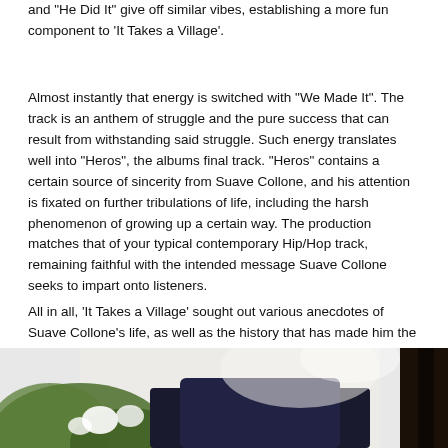and "He Did It" give off similar vibes, establishing a more fun component to 'It Takes a Village'.
Almost instantly that energy is switched with "We Made It". The track is an anthem of struggle and the pure success that can result from withstanding said struggle. Such energy translates well into "Heros", the albums final track. "Heros" contains a certain source of sincerity from Suave Collone, and his attention is fixated on further tribulations of life, including the harsh phenomenon of growing up a certain way. The production matches that of your typical contemporary Hip/Hop track, remaining faithful with the intended message Suave Collone seeks to impart onto listeners.
All in all, 'It Takes a Village' sought out various anecdotes of Suave Collone's life, as well as the history that has made him the kind of artist and man he is today.
[Figure (photo): A photograph showing a person outdoors, partially visible at the bottom of the page, with green foliage/flowers visible on the left side and a dark vertical element on the right.]